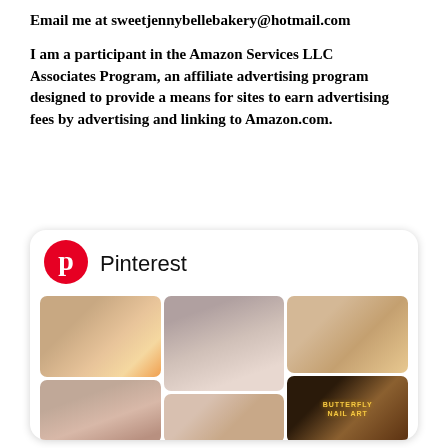Email me at sweetjennybellebakery@hotmail.com
I am a participant in the Amazon Services LLC Associates Program, an affiliate advertising program designed to provide a means for sites to earn advertising fees by advertising and linking to Amazon.com.
[Figure (screenshot): Pinterest widget/embed showing a Pinterest logo and header with the word 'Pinterest', followed by a grid of nail art photos including colorful nails, butterfly nail art, and various manicure styles.]